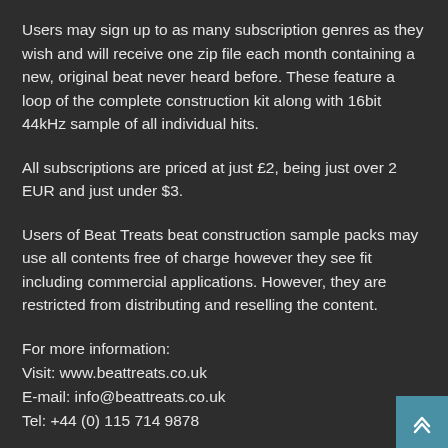Users may sign up to as many subscription genres as they wish and will receive one zip file each month containing a new, original beat never heard before. These feature a loop of the complete construction kit along with 16bit 44kHz sample of all individual hits.
All subscriptions are priced at just £2, being just over 2 EUR and just under $3.
Users of Beat Treats beat construction sample packs may use all contents free of charge however they see fit including commercial applications. However, they are restricted from distributing and reselling the content.
For more information:
Visit: www.beattreats.co.uk
E-mail: info@beattreats.co.uk
Tel: +44 (0) 115 714 9878